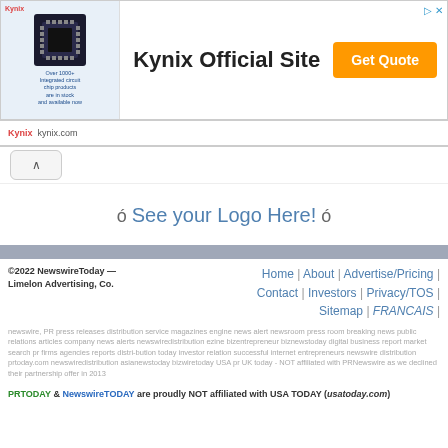[Figure (screenshot): Kynix advertisement banner with chip image, 'Kynix Official Site' text, and orange 'Get Quote' button]
↑ (scroll up button)
ó See your Logo Here! ó
©2022 NewswireToday — Limelon Advertising, Co.
Home | About | Advertise/Pricing | Contact | Investors | Privacy/TOS | Sitemap | FRANCAIS |
newswire, PR press releases distribution service magazines engine news alert newsroom press room breaking news public relations articles company news alerts newswiredistribution ezine bizentrepreneur biznewstoday digital business report market search pr firms agencies reports distri-bution today investor relation successful internet entrepreneurs newswire distribution prtoday.com newswiredistribution asianewstoday bizwiretoday USA pr UK today - NOT affiliated with PRNewswire as we declined their partnership offer in 2013
PRTODAY & NewswireTODAY are proudly NOT affiliated with USA TODAY (usatoday.com)